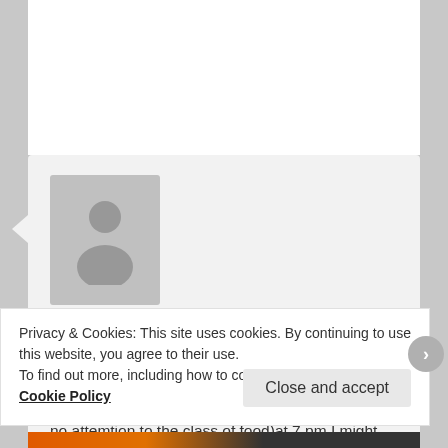[Figure (illustration): Generic user avatar silhouette (gray placeholder person icon)]
Nayo on August 31, 2016 at 6:52 AM said:
I have done 1 day a meal fast for over 20 days. I would drink 4 glasses of water at 6:30pm and eat whatever food i am given at the family table (paying no attemtion to the class of food)at 7 pm I might take water if I am tirsty up till 11:45 am
Privacy & Cookies: This site uses cookies. By continuing to use this website, you agree to their use.
To find out more, including how to control cookies, see here: Cookie Policy
Close and accept